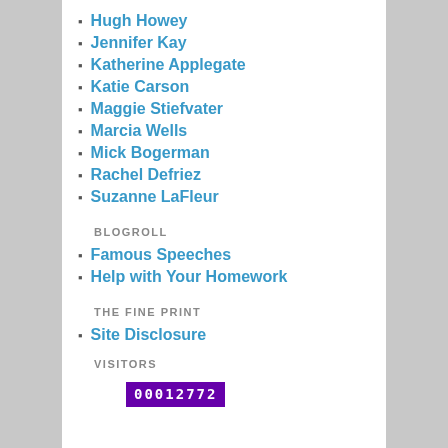Hugh Howey
Jennifer Kay
Katherine Applegate
Katie Carson
Maggie Stiefvater
Marcia Wells
Mick Bogerman
Rachel Defriez
Suzanne LaFleur
BLOGROLL
Famous Speeches
Help with Your Homework
THE FINE PRINT
Site Disclosure
VISITORS
00012772